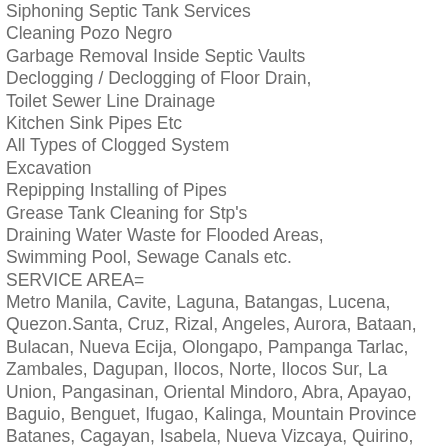Siphoning Septic Tank Services
Cleaning Pozo Negro
Garbage Removal Inside Septic Vaults
Declogging / Declogging of Floor Drain, Toilet Sewer Line Drainage
Kitchen Sink Pipes Etc
All Types of Clogged System
Excavation
Repipping Installing of Pipes
Grease Tank Cleaning for Stp's
Draining Water Waste for Flooded Areas, Swimming Pool, Sewage Canals etc.
SERVICE AREA=
Metro Manila, Cavite, Laguna, Batangas, Lucena, Quezon.Santa, Cruz, Rizal, Angeles, Aurora, Bataan, Bulacan, Nueva Ecija, Olongapo, Pampanga Tarlac, Zambales, Dagupan, Ilocos, Norte, Ilocos Sur, La Union, Pangasinan, Oriental Mindoro, Abra, Apayao, Baguio, Benguet, Ifugao, Kalinga, Mountain Province Batanes, Cagayan, Isabela, Nueva Vizcaya, Quirino, Santiago, Masbate, Naga, Iloilo City, Cebu City, Davao City, Compostela, Valley Biliran, Leyte, Ormoc, Tacloban City, Gandara Samar, Calbayog City, Catarman Catbalogan Samar, Samar, Southern Leyte, Eastern Samar, Northern Samar, Cagayan Valley, Surigao Del Sur, Surigao Del Norte